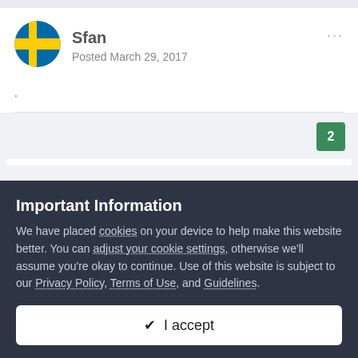[Figure (illustration): Swedish flag circle avatar icon]
Sfan
Posted March 29, 2017
.
2
Important Information
We have placed cookies on your device to help make this website better. You can adjust your cookie settings, otherwise we'll assume you're okay to continue. Use of this website is subject to our Privacy Policy, Terms of Use, and Guidelines.
✔ I accept